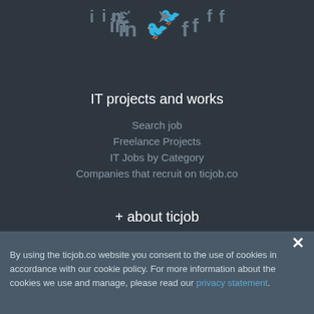[Figure (illustration): Social media icons: LinkedIn (in), Twitter (bird), Facebook (f) in gray on dark background]
IT projects and works
Search job
Freelance Projects
IT Jobs by Category
Companies that recruit on ticjob.co
+ about ticjob
Sign for free
Email Alert
Our partners
Microsoft Zone
By using the ticjob.co website you consent to the use of cookies in accordance with our cookie policy. For more information about the cookies we use and manage, please read our privacy statement.